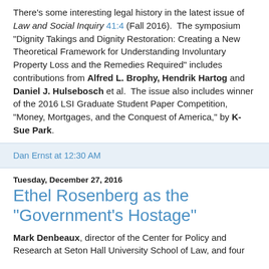There's some interesting legal history in the latest issue of Law and Social Inquiry 41:4 (Fall 2016). The symposium "Dignity Takings and Dignity Restoration: Creating a New Theoretical Framework for Understanding Involuntary Property Loss and the Remedies Required" includes contributions from Alfred L. Brophy, Hendrik Hartog and Daniel J. Hulsebosch et al. The issue also includes winner of the 2016 LSI Graduate Student Paper Competition, "Money, Mortgages, and the Conquest of America," by K-Sue Park.
Dan Ernst at 12:30 AM
Tuesday, December 27, 2016
Ethel Rosenberg as the "Government's Hostage"
Mark Denbeaux, director of the Center for Policy and Research at Seton Hall University School of Law, and four